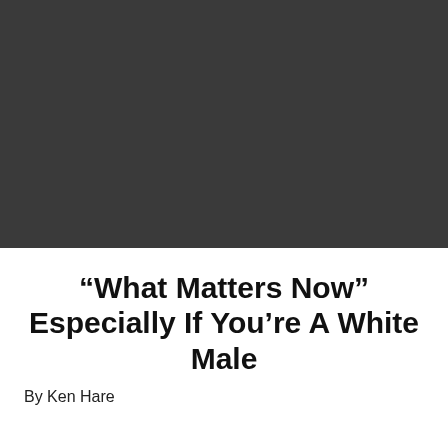[Figure (illustration): Dark gray tiled background pattern featuring repeating speech bubble icons containing video play buttons, arranged in a grid across the entire image area.]
“What Matters Now” Especially If You’re A White Male
By Ken Hare